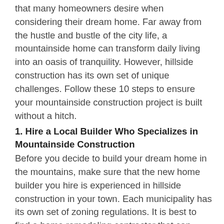that many homeowners desire when considering their dream home. Far away from the hustle and bustle of the city life, a mountainside home can transform daily living into an oasis of tranquility. However, hillside construction has its own set of unique challenges. Follow these 10 steps to ensure your mountainside construction project is built without a hitch.
1. Hire a Local Builder Who Specializes in Mountainside Construction
Before you decide to build your dream home in the mountains, make sure that the new home builder you hire is experienced in hillside construction in your town. Each municipality has its own set of zoning regulations. It is best to find a home remodeling contractor that can provide actual photos and references from previous home builds in your area. A local contractor will understand the soil, topography and hydrology that is involved in your construction project and can guide you throughout the design process.
2. Choose The Location for Your New Home
One of the most important aspects of your custom home build is choosing the location. Mountainside building is